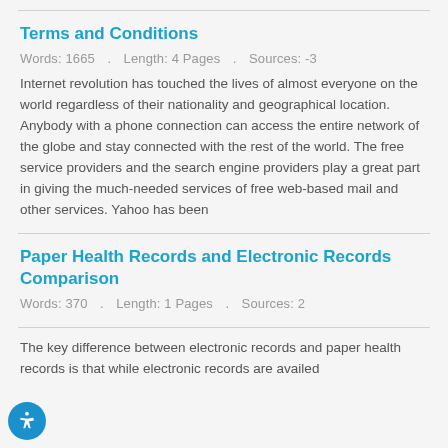Terms and Conditions
Words: 1665  .  Length: 4 Pages  .  Sources: -3
Internet revolution has touched the lives of almost everyone on the world regardless of their nationality and geographical location. Anybody with a phone connection can access the entire network of the globe and stay connected with the rest of the world. The free service providers and the search engine providers play a great part in giving the much-needed services of free web-based mail and other services. Yahoo has been
Paper Health Records and Electronic Records Comparison
Words: 370  .  Length: 1 Pages  .  Sources: 2
The key difference between electronic records and paper health records is that while electronic records are availed